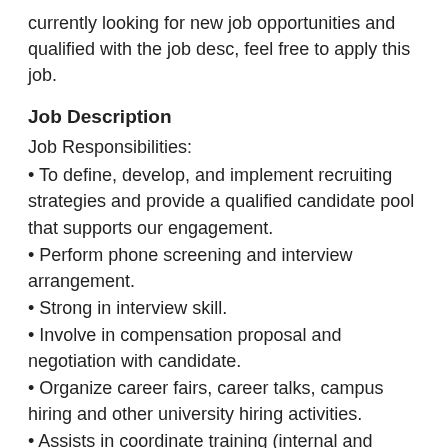currently looking for new job opportunities and qualified with the job desc, feel free to apply this job.
Job Description
Job Responsibilities:
• To define, develop, and implement recruiting strategies and provide a qualified candidate pool that supports our engagement.
• Perform phone screening and interview arrangement.
• Strong in interview skill.
• Involve in compensation proposal and negotiation with candidate.
• Organize career fairs, career talks, campus hiring and other university hiring activities.
• Assists in coordinate training (internal and external) and compilation training reports.
• Perform other miscellaneous duties as required by the manager.